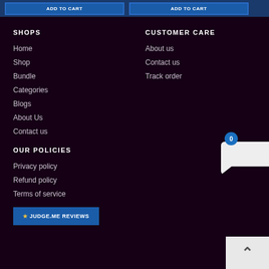SHOPS
Home
Shop
Bundle
Categories
Blogs
About Us
Contact us
CUSTOMER CARE
About us
Contact us
Track order
OUR POLICIES
Privacy policy
Refund policy
Terms of service
★ JUDGE.ME REVIEWS